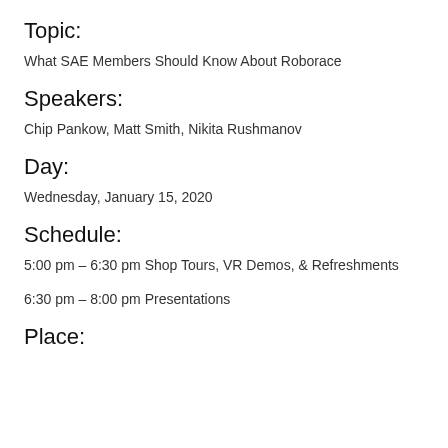Topic:
What SAE Members Should Know About Roborace
Speakers:
Chip Pankow, Matt Smith, Nikita Rushmanov
Day:
Wednesday, January 15, 2020
Schedule:
5:00 pm – 6:30 pm Shop Tours, VR Demos, & Refreshments
6:30 pm – 8:00 pm Presentations
Place: